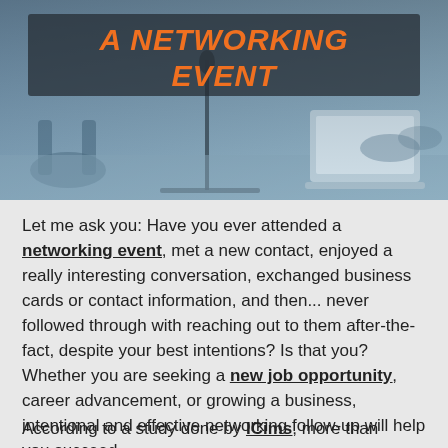[Figure (photo): Hero image of a conference room with chairs and a microphone, overlaid with a dark box containing the title 'A NETWORKING EVENT' in orange bold italic text]
Let me ask you: Have you ever attended a networking event, met a new contact, enjoyed a really interesting conversation, exchanged business cards or contact information, and then... never followed through with reaching out to them after-the-fact, despite your best intentions? Is that you? Whether you are seeking a new job opportunity, career advancement, or growing a business, intentional and effective networking follow-up will help you succeed.
According to a study done by ICims, more than